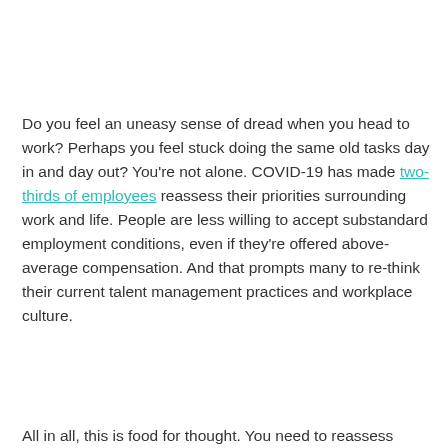Do you feel an uneasy sense of dread when you head to work? Perhaps you feel stuck doing the same old tasks day in and day out? You're not alone. COVID-19 has made two-thirds of employees reassess their priorities surrounding work and life. People are less willing to accept substandard employment conditions, even if they're offered above-average compensation. And that prompts many to re-think their current talent management practices and workplace culture.
All in all, this is food for thought. You need to reassess